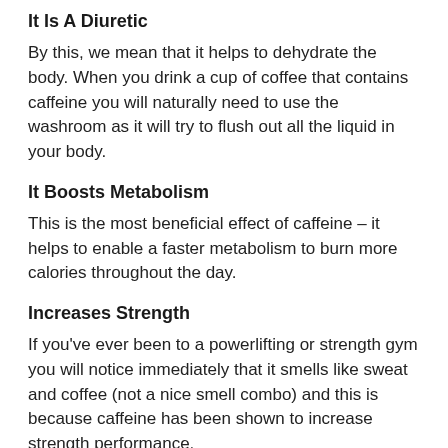It Is A Diuretic
By this, we mean that it helps to dehydrate the body. When you drink a cup of coffee that contains caffeine you will naturally need to use the washroom as it will try to flush out all the liquid in your body.
It Boosts Metabolism
This is the most beneficial effect of caffeine – it helps to enable a faster metabolism to burn more calories throughout the day.
Increases Strength
If you've ever been to a powerlifting or strength gym you will notice immediately that it smells like sweat and coffee (not a nice smell combo) and this is because caffeine has been shown to increase strength performance.